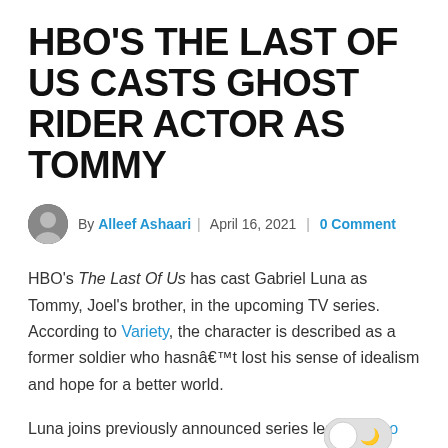HBO'S THE LAST OF US CASTS GHOST RIDER ACTOR AS TOMMY
By Alleef Ashaari | April 16, 2021 | 0 Comment
HBO's The Last Of Us has cast Gabriel Luna as Tommy, Joel's brother, in the upcoming TV series. According to Variety, the character is described as a former soldier who hasnâ€™t lost his sense of idealism and hope for a better world.
Luna joins previously announced series leads Pedro Pascal and Bella Ramsey, who will play Joel and Ellie, respectively. Gabriel Luna is best